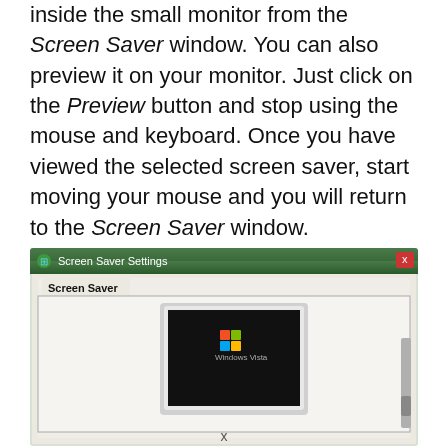inside the small monitor from the Screen Saver window. You can also preview it on your monitor. Just click on the Preview button and stop using the mouse and keyboard. Once you have viewed the selected screen saver, start moving your mouse and you will return to the Screen Saver window.
[Figure (screenshot): Screenshot of Windows Vista Screen Saver Settings dialog box, showing the Screen Saver tab with a small preview monitor displaying the Windows Vista logo on a black background.]
x